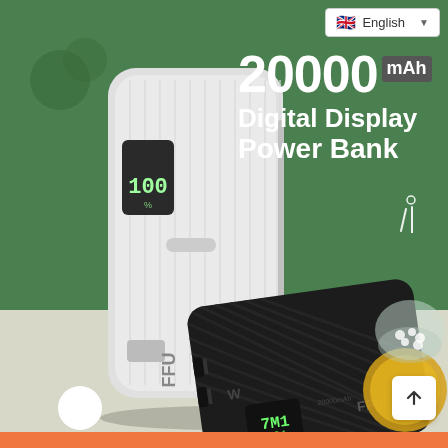[Figure (photo): Product photo of FFU 20000mAh Digital Display Power Bank. Two power banks are shown: a tall white/light gray one standing upright with FFU branding and a digital display showing 100%, and a smaller black one lying flat showing its USB ports, digital display, and FFU logo. Set against a green background on a white surface with a decorative glass bowl with pebbles and a gold tray on the right.]
English
20000 mAh Digital Display Power Bank